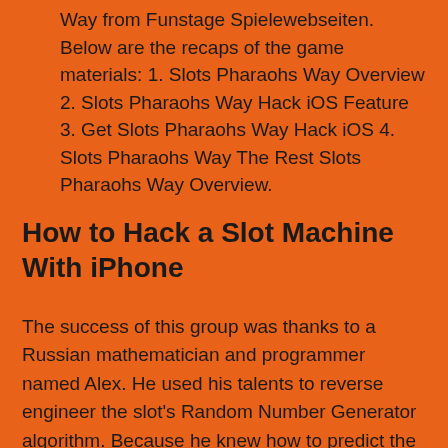Way from Funstage Spielewebseiten. Below are the recaps of the game materials: 1. Slots Pharaohs Way Overview 2. Slots Pharaohs Way Hack iOS Feature 3. Get Slots Pharaohs Way Hack iOS 4. Slots Pharaohs Way The Rest Slots Pharaohs Way Overview.
How to Hack a Slot Machine With iPhone
The success of this group was thanks to a Russian mathematician and programmer named Alex. He used his talents to reverse engineer the slot's Random Number Generator algorithm. Because he knew how to predict the machine's behavior, he passed along this insight onto his field agents who did all the leg work